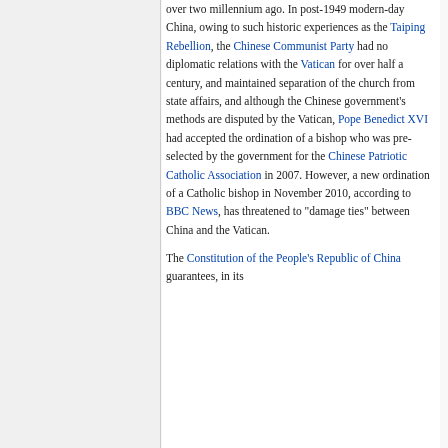over two millennium ago. In post-1949 modern-day China, owing to such historic experiences as the Taiping Rebellion, the Chinese Communist Party had no diplomatic relations with the Vatican for over half a century, and maintained separation of the church from state affairs, and although the Chinese government's methods are disputed by the Vatican, Pope Benedict XVI had accepted the ordination of a bishop who was pre-selected by the government for the Chinese Patriotic Catholic Association in 2007. However, a new ordination of a Catholic bishop in November 2010, according to BBC News, has threatened to "damage ties" between China and the Vatican.
The Constitution of the People's Republic of China guarantees, in its